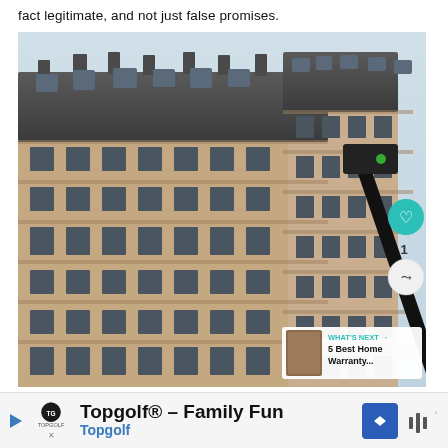fact legitimate, and not just false promises.
[Figure (photo): Upward-angled photograph of an ornate Beaux-Arts style building facade with decorative stonework, balconies, and a mansard roof. A traffic signal arm extends diagonally across the right side. UI overlays include a teal heart button, share button, and 'What's Next' thumbnail card for '5 Best Home Warranty...']
[Figure (screenshot): Advertisement bar at the bottom: Topgolf brand ad with logo, text 'Topgolf® - Family Fun' and 'Topgolf' in blue, navigation icon, and audio waveform icon.]